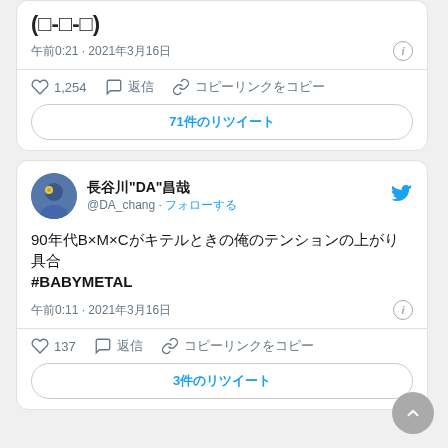(□-□-□)
午前0:21 · 2021年3月16日
♡ 1,254  💬 返信  🔗 コピーリンクをコピー
71件のリツイート
長谷川"DA"昌哉 @DA_chang · フォローする
90年代B×M×Cがキテルときの俺のテンションの上がり具合 #BABYMETAL
午前0:11 · 2021年3月16日
♡ 137  💬 返信  🔗 コピーリンクをコピー
3件のリツイート